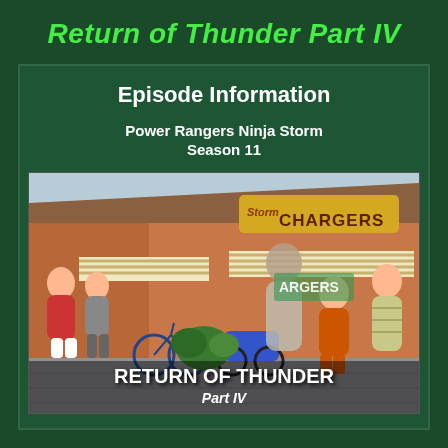Return of Thunder Part IV
Episode Information
Power Rangers Ninja Storm
Season 11
[Figure (screenshot): A still from Power Rangers Ninja Storm showing the Storm Chargers store exterior with people and bikes in a shopping area. The episode title RETURN OF THUNDER Part IV is overlaid at the bottom of the image.]